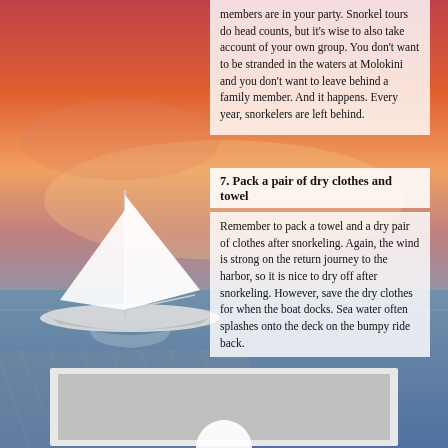[Figure (photo): Background photo of a sailboat on the ocean at sunset with orange/pink sky. Lower portion shows a white card/image placeholder with a circular icon.]
members are in your party. Snorkel tours do head counts, but it's wise to also take account of your own group. You don't want to be stranded in the waters at Molokini and you don't want to leave behind a family member. And it happens. Every year, snorkelers are left behind.
7. Pack a pair of dry clothes and towel
Remember to pack a towel and a dry pair of clothes after snorkeling. Again, the wind is strong on the return journey to the harbor, so it is nice to dry off after snorkeling. However, save the dry clothes for when the boat docks. Sea water often splashes onto the deck on the bumpy ride back.